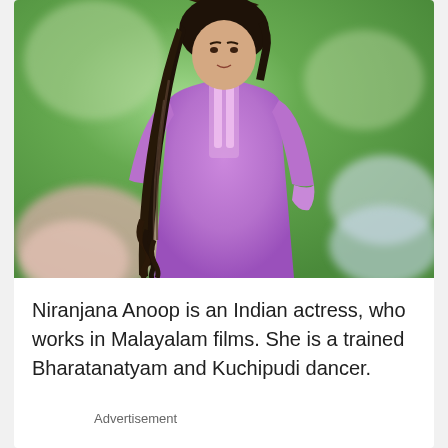[Figure (photo): A woman with long curly hair wearing a purple/lavender kurta (traditional Indian salwar kameez) posing outdoors with a blurred green background.]
Niranjana Anoop is an Indian actress, who works in Malayalam films. She is a trained Bharatanatyam and Kuchipudi dancer.
Advertisement